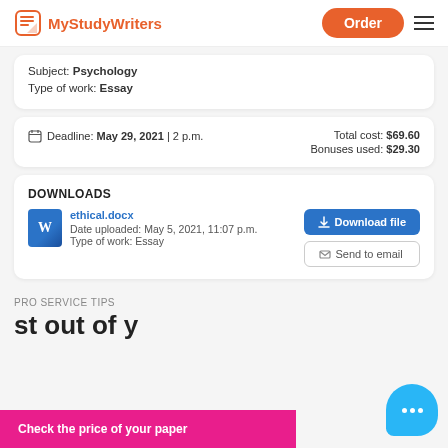MyStudyWriters | Order
Subject: Psychology
Type of work: Essay
Deadline: May 29, 2021 | 2 p.m.
Total cost: $69.60
Bonuses used: $29.30
DOWNLOADS
ethical.docx
Date uploaded: May 5, 2021, 11:07 p.m.
Type of work: Essay
Download file | Send to email
PRO SERVICE TIPS
st out of y
Check the price of your paper